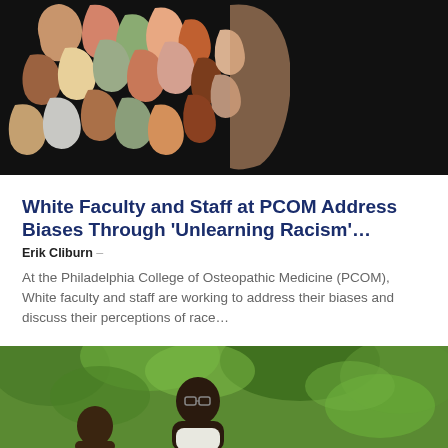[Figure (photo): Colorful clay or paper sculpture of many diverse human face profiles clustered together on a black background, representing diversity and inclusion.]
White Faculty and Staff at PCOM Address Biases Through ‘Unlearning Racism’…
Erik Cliburn –
At the Philadelphia College of Osteopathic Medicine (PCOM), White faculty and staff are working to address their biases and discuss their perceptions of race…
[Figure (photo): A man with glasses speaking outdoors surrounded by green foliage, with another person partially visible.]